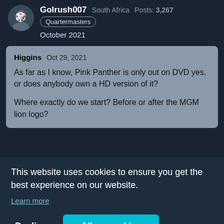Golrush007  South Africa  Posts: 3,267  Quartermasters  October 2021
Higgins  Oct 29, 2021
As far as I know, Pink Panther is only out on DVD yes, or does anybody own a HD version of it?

Where exactly do we start? Before or after the MGM lion logo?
o the
This website uses cookies to ensure you get the best experience on our website.
Learn more
Decline  Allow cookies
The next change start at FIGHT the time 20:00 PM GMT!